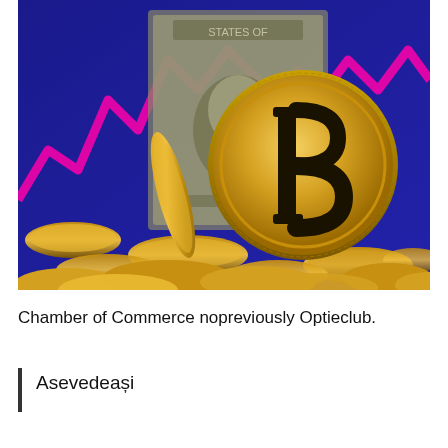[Figure (photo): Photograph of a large Bitcoin coin (physical token with the Bitcoin logo) standing upright in the foreground, surrounded by gold coins, with a US dollar bill visible in the background and a blue and pink stock chart displayed behind it.]
Chamber of Commerce nopreviously Optieclub.
Asevedeași